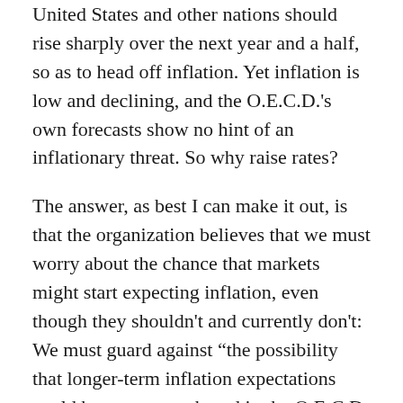United States and other nations should rise sharply over the next year and a half, so as to head off inflation. Yet inflation is low and declining, and the O.E.C.D.'s own forecasts show no hint of an inflationary threat. So why raise rates?
The answer, as best I can make it out, is that the organization believes that we must worry about the chance that markets might start expecting inflation, even though they shouldn't and currently don't: We must guard against “the possibility that longer-term inflation expectations could become unanchored in the O.E.C.D. economies, contrary to what is assumed in the central projection.”
A similar argument is used to justify fiscal austerity. Both textbook economics and experience say that slashing spending when you’re still suffering from high